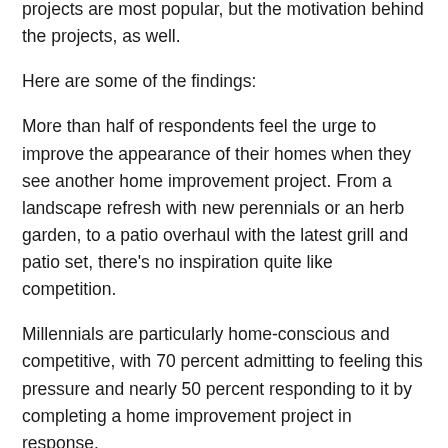projects are most popular, but the motivation behind the projects, as well.
Here are some of the findings:
More than half of respondents feel the urge to improve the appearance of their homes when they see another home improvement project. From a landscape refresh with new perennials or an herb garden, to a patio overhaul with the latest grill and patio set, there's no inspiration quite like competition.
Millennials are particularly home-conscious and competitive, with 70 percent admitting to feeling this pressure and nearly 50 percent responding to it by completing a home improvement project in response.
Parents tend to feel the pull more than non-parents—whether